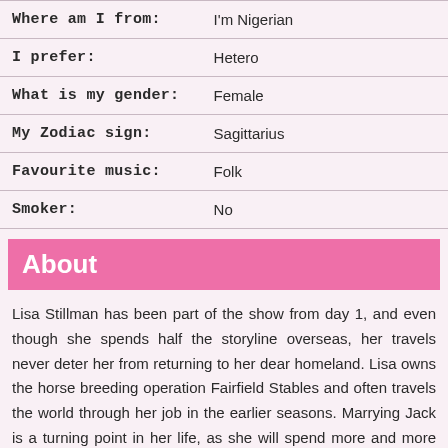| Where am I from: | I'm Nigerian |
| I prefer: | Hetero |
| What is my gender: | Female |
| My Zodiac sign: | Sagittarius |
| Favourite music: | Folk |
| Smoker: | No |
About
Lisa Stillman has been part of the show from day 1, and even though she spends half the storyline overseas, her travels never deter her from returning to her dear homeland. Lisa owns the horse breeding operation Fairfield Stables and often travels the world through her job in the earlier seasons. Marrying Jack is a turning point in her life, as she will spend more and more time as a